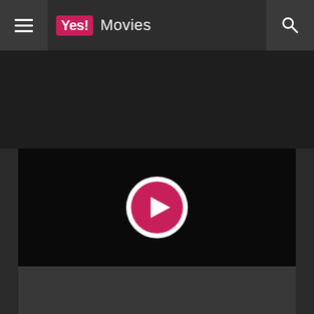Yes! Movies
[Figure (screenshot): Video player with a pink/crimson circular play button centered on a black background]
[Figure (screenshot): Dark gray content area below the video player]